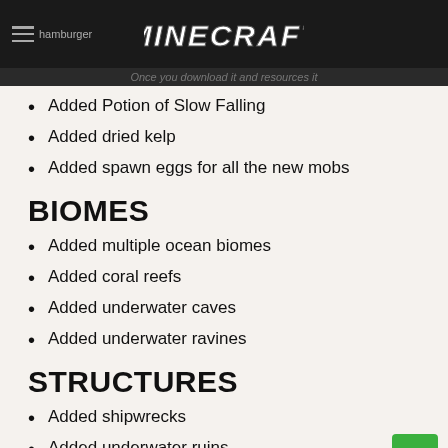hamburger MINECRAFT
Once you download it and resources it
Added Potion of Slow Falling
Added dried kelp
Added spawn eggs for all the new mobs
BIOMES
Added multiple ocean biomes
Added coral reefs
Added underwater caves
Added underwater ravines
STRUCTURES
Added shipwrecks
Added underwater ruins